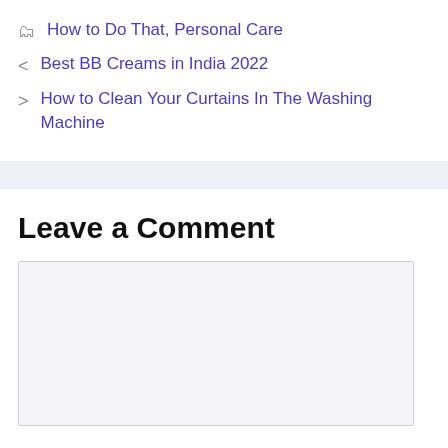How to Do That, Personal Care
Best BB Creams in India 2022
How to Clean Your Curtains In The Washing Machine
Leave a Comment